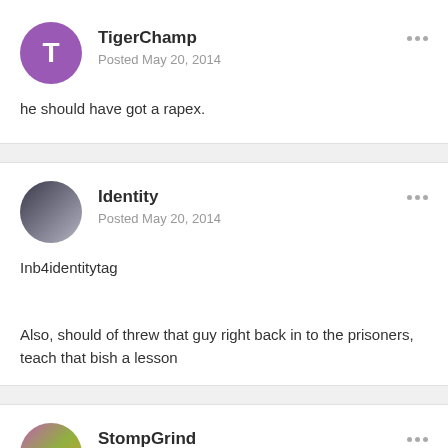TigerChamp
Posted May 20, 2014
he should have got a rapex.
Identity
Posted May 20, 2014
Inb4identitytag
Also, should of threw that guy right back in to the prisoners, teach that bish a lesson
StompGrind
Posted May 20, 2014